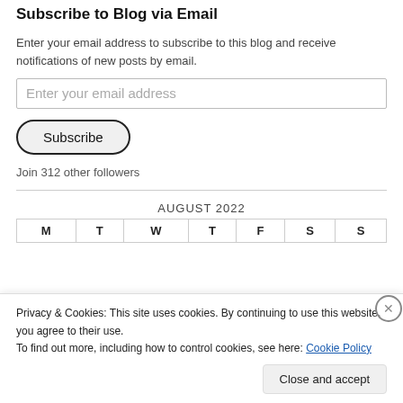Subscribe to Blog via Email
Enter your email address to subscribe to this blog and receive notifications of new posts by email.
Enter your email address
Subscribe
Join 312 other followers
AUGUST 2022
| M | T | W | T | F | S | S |
| --- | --- | --- | --- | --- | --- | --- |
Privacy & Cookies: This site uses cookies. By continuing to use this website, you agree to their use.
To find out more, including how to control cookies, see here: Cookie Policy
Close and accept